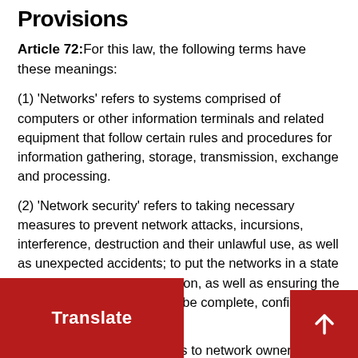Provisions
Article 72: For this law, the following terms have these meanings:
(1) 'Networks' refers to systems comprised of computers or other information terminals and related equipment that follow certain rules and procedures for information gathering, storage, transmission, exchange and processing.
(2) 'Network security' refers to taking necessary measures to prevent network attacks, incursions, interference, destruction and their unlawful use, as well as unexpected accidents; to put the networks in a state of stable and reliable operation, as well as ensuring the capacity for network data to be complete, confidential and usable.
(3) 'Network operators' refers to network owners, managers and service providers.
(4) refers to all kinds of electronic data